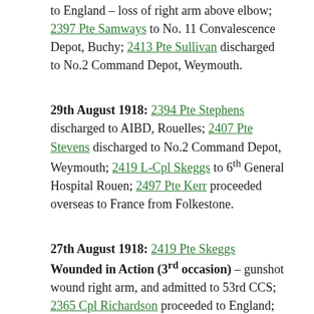to England – loss of right arm above elbow; 2397 Pte Samways to No. 11 Convalescence Depot, Buchy; 2413 Pte Sullivan discharged to No.2 Command Depot, Weymouth.
29th August 1918: 2394 Pte Stephens discharged to AIBD, Rouelles; 2407 Pte Stevens discharged to No.2 Command Depot, Weymouth; 2419 L-Cpl Skeggs to 6th General Hospital Rouen; 2497 Pte Kerr proceeded overseas to France from Folkestone.
27th August 1918: 2419 Pte Skeggs Wounded in Action (3rd occasion) – gunshot wound right arm, and admitted to 53rd CCS; 2365 Cpl Richardson proceeded to England; 2387 Pte...